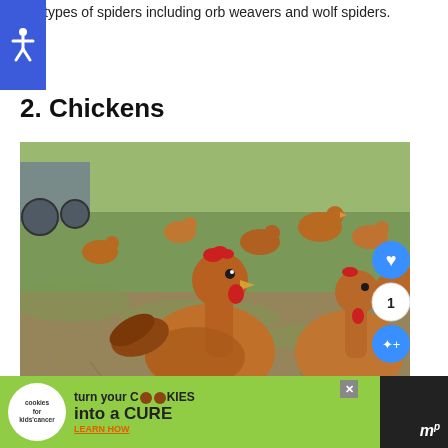types of spiders including orb weavers and wolf spiders.
2. Chickens
[Figure (photo): A flock of brown/red chickens (Rhode Island Reds) free-ranging on grass in a farm field, with one prominent chicken in the foreground looking at the camera. Farm equipment visible in the background. Social sharing buttons (heart, count=1, share) overlaid on the right side of the image.]
[Figure (other): Advertisement banner: 'cookies for kids cancer' logo on left, text 'turn your COOKIES into a CURE LEARN HOW' on green background. Close button (X) in upper right of ad. Moat analytics logo on far right in dark area.]